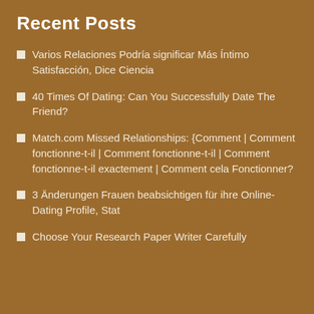Recent Posts
Varios Relaciones Podría significar Más Íntimo Satisfacción, Dice Ciencia
40 Times Of Dating: Can You Successfully Date The Friend?
Match.com Missed Relationships: {Comment | Comment fonctionne-t-il | Comment fonctionne-t-il | Comment fonctionne-t-il exactement | Comment cela Fonctionner?
3 Änderungen Frauen beabsichtigen für ihre Online-Dating Profile, Stat
Choose Your Research Paper Writer Carefully